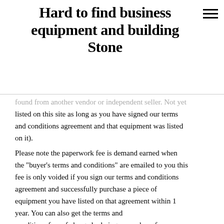Hard to find business equipment and building Stone
found from another vendor or independent seller. Not yet listed on this site as long as you have signed our terms and conditions agreement and that equipment was listed on it).
Please note the paperwork fee is demand earned when the "buyer's terms and conditions" are emailed to you this fee is only voided if you sign our terms and conditions agreement and successfully purchase a piece of equipment you have listed on that agreement within 1 year. You can also get the terms and conditions free of charge by being a member of our National Listing Service here http://www.buytanningsalons.com/ways-to-shop.html